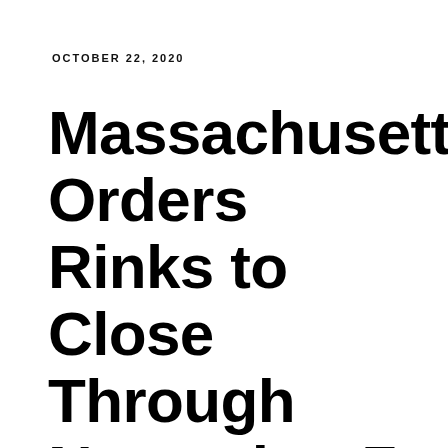OCTOBER 22, 2020
Massachusetts Orders Rinks to Close Through November 7 To Control COVID-19